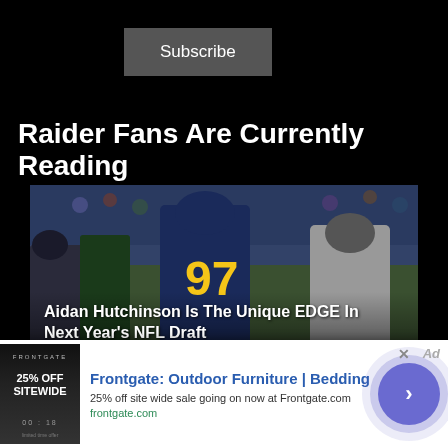Subscribe
Raider Fans Are Currently Reading
[Figure (photo): Football player wearing jersey number 97 in yellow and navy uniform, blocking opponent in gray uniform during a game. Text overlay: 'Aidan Hutchinson Is The Unique EDGE In Next Year's NFL Draft']
[Figure (photo): Partial view of a football player in game action, partially visible at bottom of page]
Frontgate: Outdoor Furniture | Bedding
25% off site wide sale going on now at Frontgate.com
frontgate.com